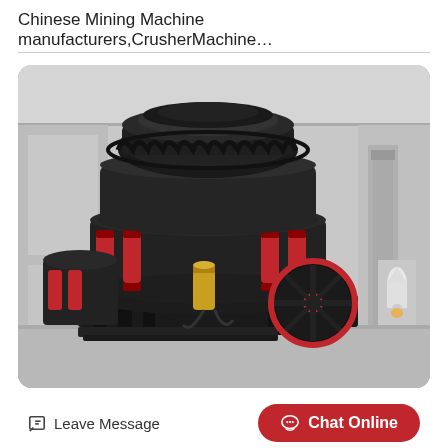Chinese Mining Machine manufacturers,CrusherMachine…
[Figure (photo): Large black and red cone crusher / mining machine in an industrial warehouse setting. The machine is massive with red hydraulic cylinders, a large flywheel with red spokes, and is mounted on a black steel frame. Background shows a light grey industrial building interior.]
Leave Message
Chat Online